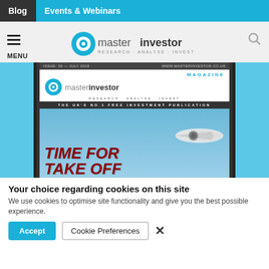Blog | Events & Webinars
[Figure (logo): Master Investor website header with hamburger menu, Master Investor logo (RESEARCH · ANALYSE · INVEST), and search icon]
[Figure (screenshot): Master Investor Magazine cover, Issue 36 July 2018, showing 'TIME FOR TAKE OFF' headline with airplane image, blue sky background]
Your choice regarding cookies on this site
We use cookies to optimise site functionality and give you the best possible experience.
Accept | Cookie Preferences | ×